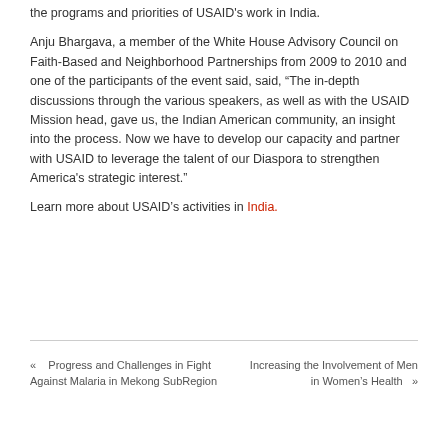the programs and priorities of USAID's work in India.
Anju Bhargava, a member of the White House Advisory Council on Faith-Based and Neighborhood Partnerships from 2009 to 2010 and one of the participants of the event said, said, “The in-depth discussions through the various speakers, as well as with the USAID Mission head, gave us, the Indian American community, an insight into the process. Now we have to develop our capacity and partner with USAID to leverage the talent of our Diaspora to strengthen America's strategic interest.”
Learn more about USAID's activities in India.
«    Progress and Challenges in Fight Against Malaria in Mekong SubRegion
Increasing the Involvement of Men in Women's Health    »